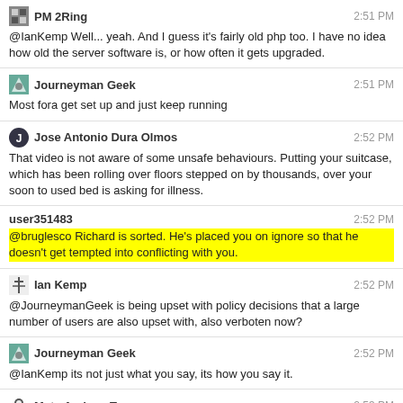PM 2Ring | 2:51 PM | @IanKemp Well... yeah. And I guess it's fairly old php too. I have no idea how old the server software is, or how often it gets upgraded.
Journeyman Geek | 2:51 PM | Most fora get set up and just keep running
Jose Antonio Dura Olmos | 2:52 PM | That video is not aware of some unsafe behaviours. Putting your suitcase, which has been rolling over floors stepped on by thousands, over your soon to used bed is asking for illness.
user351483 | 2:52 PM | @bruglesco Richard is sorted. He's placed you on ignore so that he doesn't get tempted into conflicting with you.
Ian Kemp | 2:52 PM | @JourneymanGeek is being upset with policy decisions that a large number of users are also upset with, also verboten now?
Journeyman Geek | 2:52 PM | @IanKemp its not just what you say, its how you say it.
Meta Andrew T. | 2:53 PM | "When you're upset, have a chance to take a walk..."
Ian Kemp | 2:54 PM